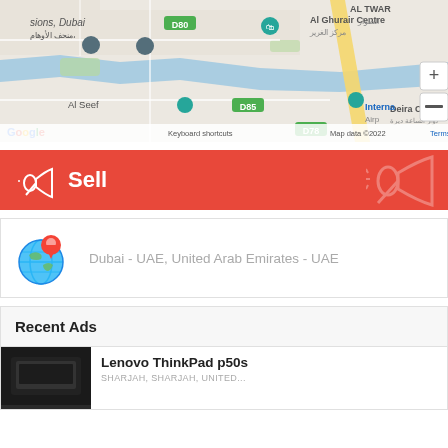[Figure (map): Google Maps screenshot showing Dubai area including Al Ghurair Centre, Al Seef, Deira Clocktower, City Centre Deira, with Arabic labels and map controls. Shows 'Keyboard shortcuts', 'Map data ©2022', 'Terms of Use'. Road labels D80, D85, D78.]
Sell
Dubai - UAE, United Arab Emirates - UAE
Recent Ads
Lenovo ThinkPad p50s